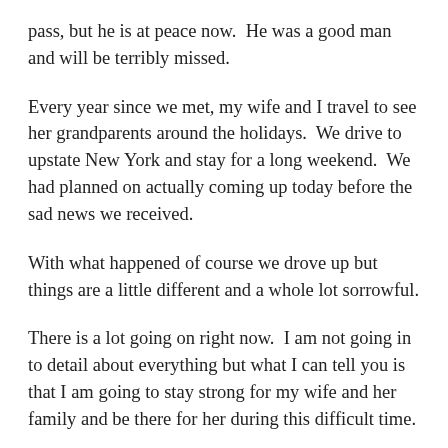pass, but he is at peace now.  He was a good man and will be terribly missed.
Every year since we met, my wife and I travel to see her grandparents around the holidays.  We drive to upstate New York and stay for a long weekend.  We had planned on actually coming up today before the sad news we received.
With what happened of course we drove up but things are a little different and a whole lot sorrowful.
There is a lot going on right now.  I am not going in to detail about everything but what I can tell you is that I am going to stay strong for my wife and her family and be there for her during this difficult time.
I will continue to do what I do on here when I can.  If you need to get in touch with me I have limited internet access.  I will be in NY for an undisclosed amount of time to try and help with